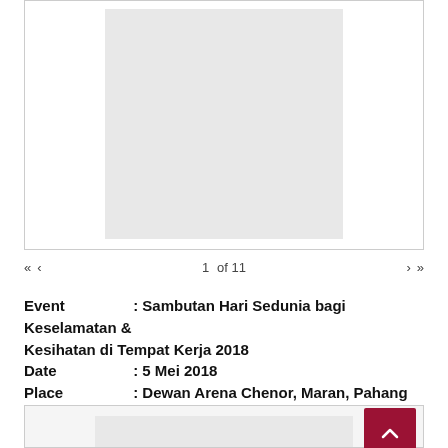[Figure (photo): Gray placeholder image area representing a photo or document viewer]
« ‹   1 of 11   › »
Event : Sambutan Hari Sedunia bagi Keselamatan & Kesihatan di Tempat Kerja 2018
Date : 5 Mei 2018
Place : Dewan Arena Chenor, Maran, Pahang
[Figure (photo): Partial gray placeholder image at the bottom of the page with a scroll-to-top button]